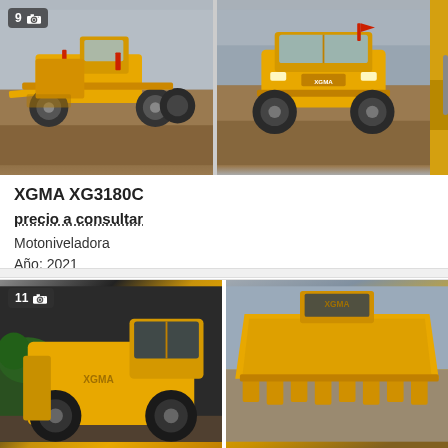[Figure (photo): Two photos of a yellow XGMA XG3180C motor grader (motoniveladora) on wet pavement/yard. Left photo shows side view with blade visible, has a photo count badge showing '9' with camera icon. Right photo shows front-angled view. A third image sliver is partially visible on the right edge with a vertical scrollbar.]
XGMA XG3180C
precio a consultar
Motoniveladora
Año: 2021
Ucrania, Zhitomir
[Figure (photo): Two partial photos of yellow XGMA construction equipment at bottom of page. Left photo shows a large wheeled loader/bulldozer with XGMA branding, photo count badge showing '11' with camera icon. Right photo shows front bucket of another yellow XGMA machine with XGMA logo visible on cab.]